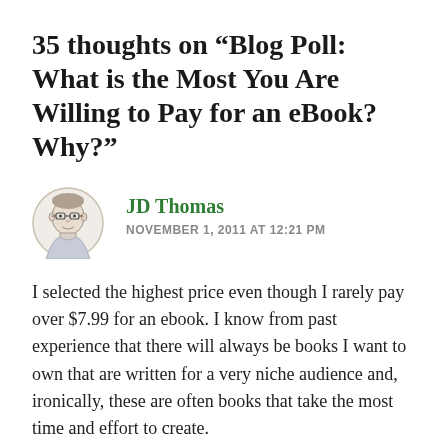35 thoughts on “Blog Poll: What is the Most You Are Willing to Pay for an eBook? Why?”
[Figure (illustration): Sketched avatar portrait of a man with glasses, in a circular frame]
JD Thomas
NOVEMBER 1, 2011 AT 12:21 PM
I selected the highest price even though I rarely pay over $7.99 for an ebook. I know from past experience that there will always be books I want to own that are written for a very niche audience and, ironically, these are often books that take the most time and effort to create.
For books like that, I do not mind spending more to ensure the author feels the love and is encouraged to